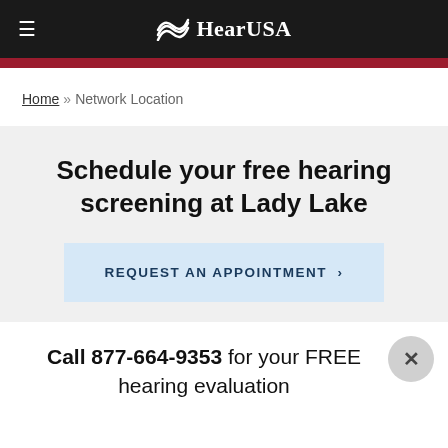HearUSA
Home » Network Location
Schedule your free hearing screening at Lady Lake
REQUEST AN APPOINTMENT >
Call 877-664-9353 for your FREE hearing evaluation